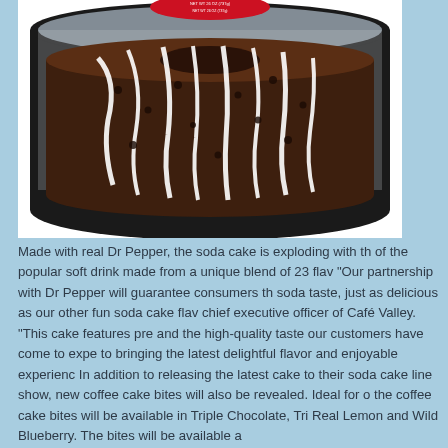[Figure (photo): A chocolate bundt cake with white icing drizzled on top, displayed in a clear plastic dome container with a dark base. A red label is visible at the top reading NET WT 26 OZ (737g).]
Made with real Dr Pepper, the soda cake is exploding with th of the popular soft drink made from a unique blend of 23 flav "Our partnership with Dr Pepper will guarantee consumers th soda taste, just as delicious as our other fun soda cake flav chief executive officer of Café Valley. "This cake features pre and the high-quality taste our customers have come to expe to bringing the latest delightful flavor and enjoyable experienc In addition to releasing the latest cake to their soda cake line show, new coffee cake bites will also be revealed. Ideal for o the coffee cake bites will be available in Triple Chocolate, Tri Real Lemon and Wild Blueberry. The bites will be available a